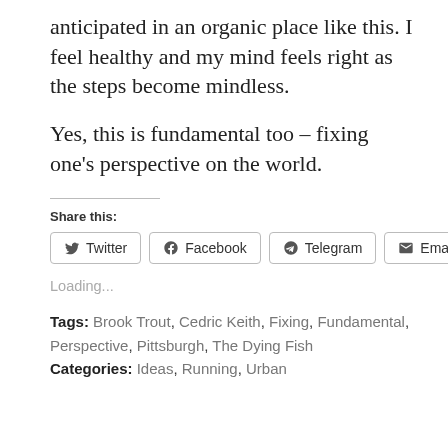anticipated in an organic place like this. I feel healthy and my mind feels right as the steps become mindless.
Yes, this is fundamental too – fixing one's perspective on the world.
Share this:
Twitter  Facebook  Telegram  Email
Loading...
Tags: Brook Trout, Cedric Keith, Fixing, Fundamental, Perspective, Pittsburgh, The Dying Fish
Categories: Ideas, Running, Urban